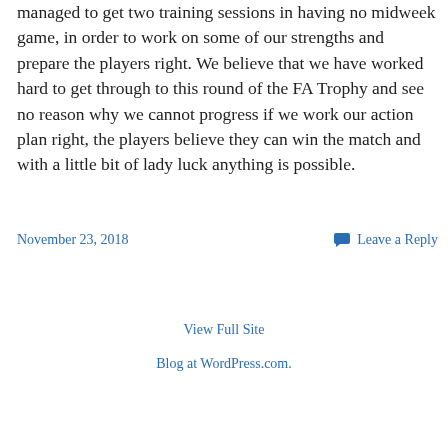managed to get two training sessions in having no midweek game, in order to work on some of our strengths and prepare the players right. We believe that we have worked hard to get through to this round of the FA Trophy and see no reason why we cannot progress if we work our action plan right, the players believe they can win the match and with a little bit of lady luck anything is possible.
November 23, 2018
Leave a Reply
View Full Site
Blog at WordPress.com.